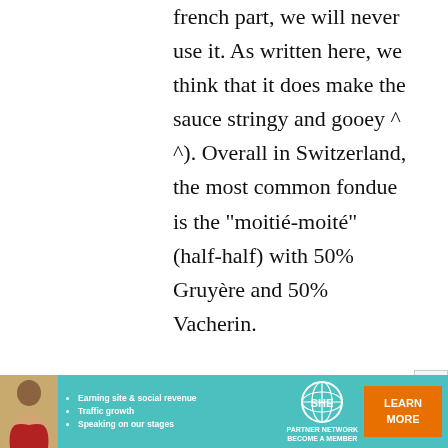french part, we will never use it. As written here, we think that it does make the sauce stringy and gooey ^ ^). Overall in Switzerland, the most common fondue is the "moitié-moité" (half-half) with 50% Gruyère and 50% Vacherin.
[Figure (infographic): Advertisement banner for SHE Partner Network with a photo of a woman, bullet points about earning site & social revenue, traffic growth, and speaking on stages, along with the SHE logo and a teal Learn More button.]